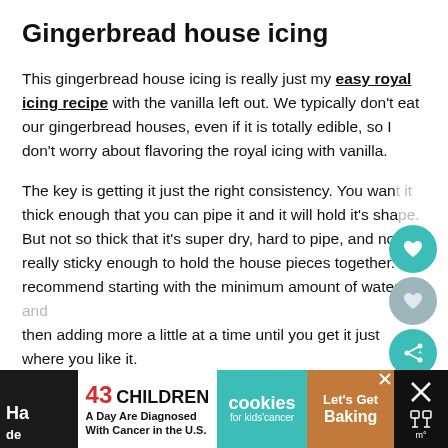Gingerbread house icing
This gingerbread house icing is really just my easy royal icing recipe with the vanilla left out. We typically don't eat our gingerbread houses, even if it is totally edible, so I don't worry about flavoring the royal icing with vanilla.
The key is getting it just the right consistency. You want it thick enough that you can pipe it and it will hold it's shape. But not so thick that it's super dry, hard to pipe, and not really sticky enough to hold the house pieces together. I recommend starting with the minimum amount of water and then adding more a little at a time until you get it just where you like it.
[Figure (screenshot): UI overlay with social buttons: teal heart button, gray heart button, teal share button, count label 132, light gray heart button, gray search button]
[Figure (screenshot): Advertisement banner: '43 CHILDREN A Day Are Diagnosed With Cancer in the U.S.' with cookies for kids cancer logo and Let's Get Baking CTA]